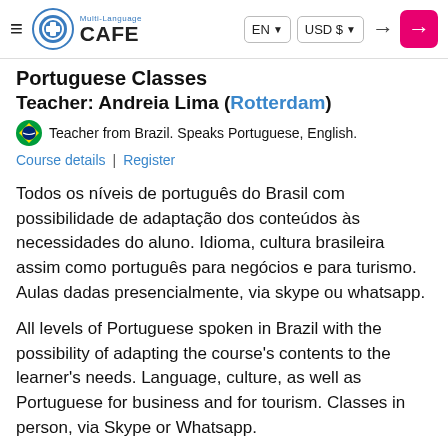Multi-Language CAFE | EN | USD $
Portuguese Classes
Teacher: Andreia Lima (Rotterdam)
Teacher from Brazil. Speaks Portuguese, English.
Course details | Register
Todos os níveis de português do Brasil com possibilidade de adaptação dos conteúdos às necessidades do aluno. Idioma, cultura brasileira assim como português para negócios e para turismo. Aulas dadas presencialmente, via skype ou whatsapp.
All levels of Portuguese spoken in Brazil with the possibility of adapting the course's contents to the learner's needs. Language, culture, as well as Portuguese for business and for tourism. Classes in person, via Skype or Whatsapp.
+ More